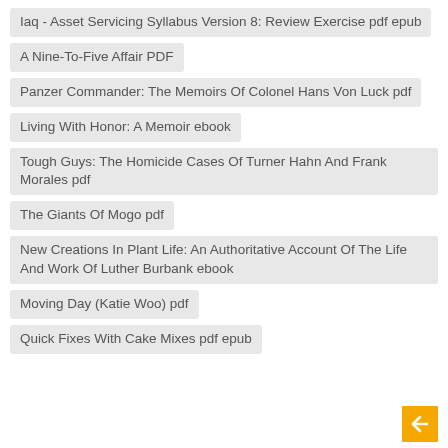Iaq - Asset Servicing Syllabus Version 8: Review Exercise pdf epub
A Nine-To-Five Affair PDF
Panzer Commander: The Memoirs Of Colonel Hans Von Luck pdf
Living With Honor: A Memoir ebook
Tough Guys: The Homicide Cases Of Turner Hahn And Frank Morales pdf
The Giants Of Mogo pdf
New Creations In Plant Life: An Authoritative Account Of The Life And Work Of Luther Burbank ebook
Moving Day (Katie Woo) pdf
Quick Fixes With Cake Mixes pdf epub